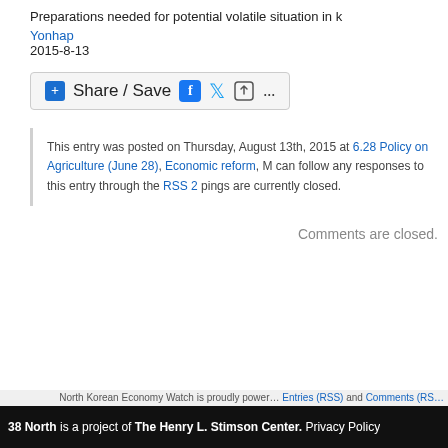Preparations needed for potential volatile situation in
Yonhap
2015-8-13
[Figure (other): Share / Save social media sharing bar with Facebook, Twitter, and upload icons]
This entry was posted on Thursday, August 13th, 2015 at 6.28 Policy on Agriculture (June 28), Economic reform, M can follow any responses to this entry through the RSS 2 pings are currently closed.
Comments are closed.
North Korean Economy Watch is proudly powered. Entries (RSS) and Comments (RS
38 North is a project of The Henry L. Stimson Center. Privacy Policy